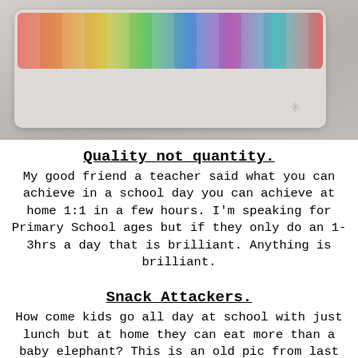[Figure (photo): Photo of a tray or container with colorful letter tiles/magnets on a light grey surface, with a small snowflake decoration visible in the background.]
Quality not quantity.
My good friend a teacher said what you can achieve in a school day you can achieve at home 1:1 in a few hours. I'm speaking for Primary School ages but if they only do an 1-3hrs a day that is brilliant. Anything is brilliant.
Snack Attackers.
How come kids go all day at school with just lunch but at home they can eat more than a baby elephant? This is an old pic from last summer but seeing similar things so thought